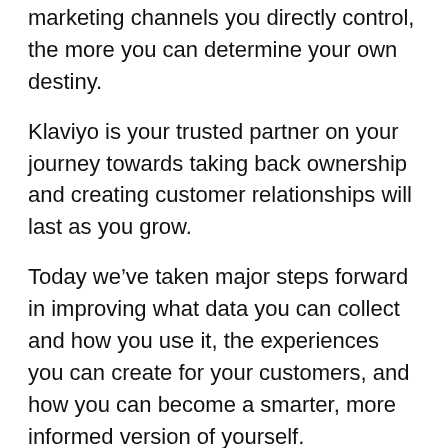marketing channels you directly control, the more you can determine your own destiny.
Klaviyo is your trusted partner on your journey towards taking back ownership and creating customer relationships will last as you grow.
Today we’ve taken major steps forward in improving what data you can collect and how you use it, the experiences you can create for your customers, and how you can become a smarter, more informed version of yourself.
We have a product we SMS for to help the